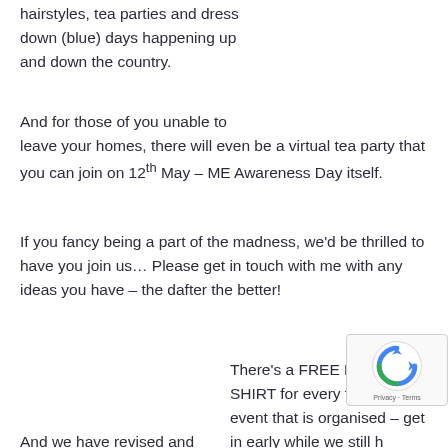hairstyles, tea parties and dress down (blue) days happening up and down the country.
And for those of you unable to leave your homes, there will even be a virtual tea party that you can join on 12th May – ME Awareness Day itself.
If you fancy being a part of the madness, we'd be thrilled to have you join us… Please get in touch with me with any ideas you have – the dafter the better!
There's a FREE BLUE T-SHIRT for every fundraising event that is organised – get in early while we still have stocks of all sizes.
And we have revised and